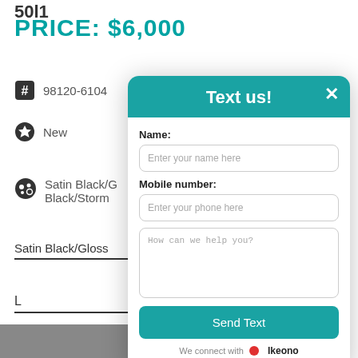PRICE: $6,000
98120-6104
New
Satin Black/G... Black/Storm
Satin Black/Gloss
L
[Figure (screenshot): Text us modal popup with fields for Name, Mobile number, a message textarea, and a Send Text button. Footer shows 'We connect with Ikeono'.]